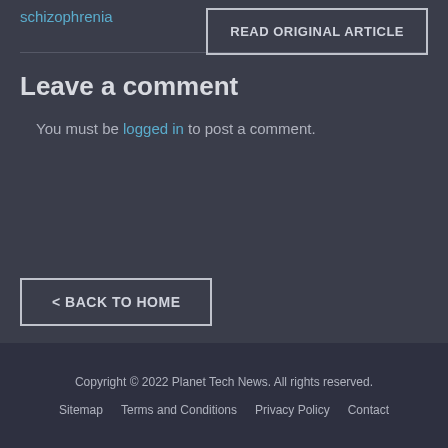schizophrenia
READ ORIGINAL ARTICLE
Leave a comment
You must be logged in to post a comment.
< BACK TO HOME
Copyright © 2022 Planet Tech News. All rights reserved. Sitemap | Terms and Conditions | Privacy Policy | Contact